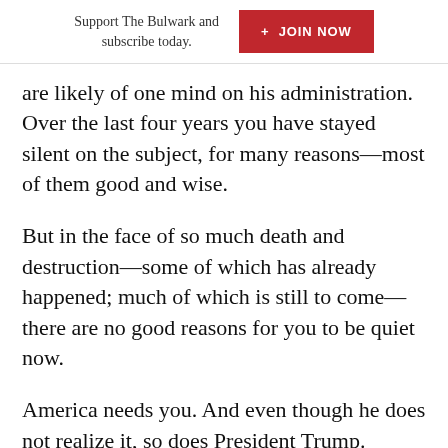Support The Bulwark and subscribe today.  + JOIN NOW
are likely of one mind on his administration. Over the last four years you have stayed silent on the subject, for many reasons—most of them good and wise.
But in the face of so much death and destruction—some of which has already happened; much of which is still to come—there are no good reasons for you to be quiet now.
America needs you. And even though he does not realize it, so does President Trump.
[Figure (other): Social sharing icons at the bottom of the article (partially visible)]